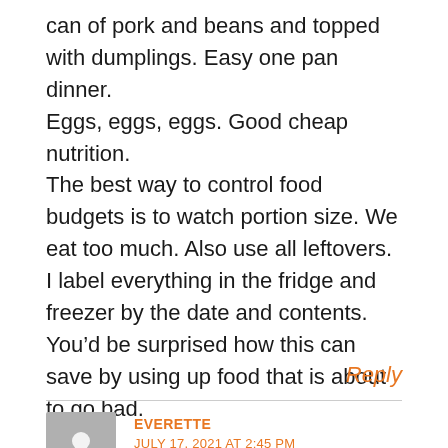can of pork and beans and topped with dumplings. Easy one pan dinner.
Eggs, eggs, eggs. Good cheap nutrition.
The best way to control food budgets is to watch portion size. We eat too much. Also use all leftovers. I label everything in the fridge and freezer by the date and contents. You’d be surprised how this can save by using up food that is about to go bad.
Reply
EVERETTE
JULY 17, 2021 AT 2:45 PM